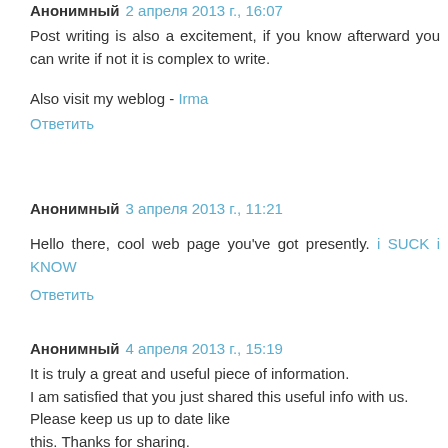Анонимный  2 апреля 2013 г., 16:07
Post writing is also a excitement, if you know afterward you can write if not it is complex to write.
Also visit my weblog - Irma
Ответить
Анонимный  3 апреля 2013 г., 11:21
Hello there, cool web page you've got presently. i SUCK i KNOW
Ответить
Анонимный  4 апреля 2013 г., 15:19
It is truly a great and useful piece of information. I am satisfied that you just shared this useful info with us. Please keep us up to date like this. Thanks for sharing.